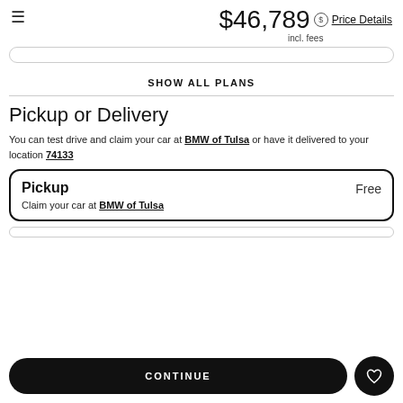$46,789 incl. fees — Price Details
SHOW ALL PLANS
Pickup or Delivery
You can test drive and claim your car at BMW of Tulsa or have it delivered to your location 74133
Pickup — Free
Claim your car at BMW of Tulsa
CONTINUE